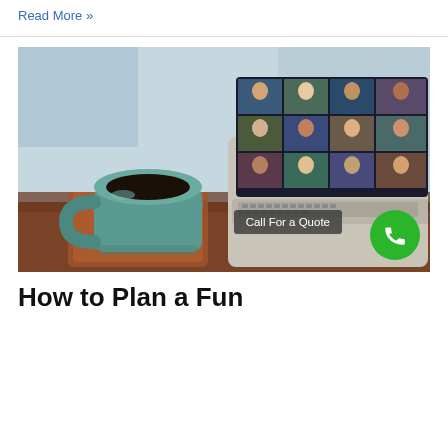Read More »
[Figure (photo): A laptop on a wooden desk showing a video call with many participants in a grid layout, next to a green ceramic coffee mug. The scene suggests remote/virtual meeting setup.]
Call For a Quote
How to Plan a Fun